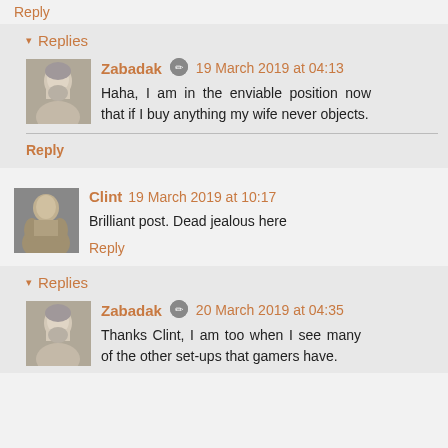Reply
▾ Replies
Zabadak 🖋 19 March 2019 at 04:13
Haha, I am in the enviable position now that if I buy anything my wife never objects.
Reply
Clint 19 March 2019 at 10:17
Brilliant post. Dead jealous here
Reply
▾ Replies
Zabadak 🖋 20 March 2019 at 04:35
Thanks Clint, I am too when I see many of the other set-ups that gamers have.